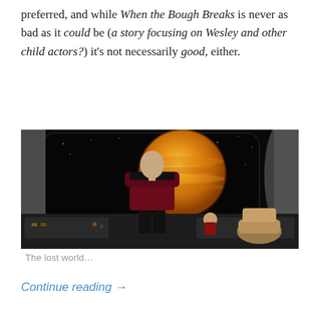preferred, and while When the Bough Breaks is never as bad as it could be (a story focusing on Wesley and other child actors?) it's not necessarily good, either.
[Figure (photo): A figure in a red and black Star Trek uniform stands with their back to the camera on the bridge of the Enterprise, facing a large viewscreen showing a gas giant planet (orange/yellow, Jupiter-like) against a starfield. Other crew members are visible at their stations in the foreground.]
The lost world…
Continue reading →